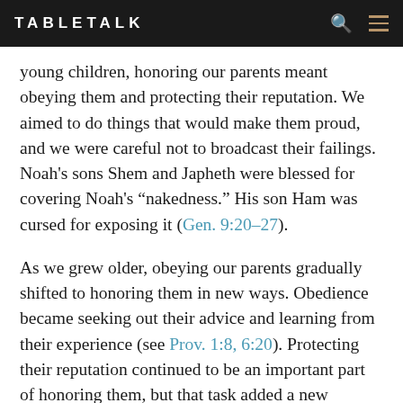TABLETALK
young children, honoring our parents meant obeying them and protecting their reputation. We aimed to do things that would make them proud, and we were careful not to broadcast their failings. Noah's sons Shem and Japheth were blessed for covering Noah's “nakedness.” His son Ham was cursed for exposing it (Gen. 9:20–27).
As we grew older, obeying our parents gradually shifted to honoring them in new ways. Obedience became seeking out their advice and learning from their experience (see Prov. 1:8, 6:20). Protecting their reputation continued to be an important part of honoring them, but that task added a new